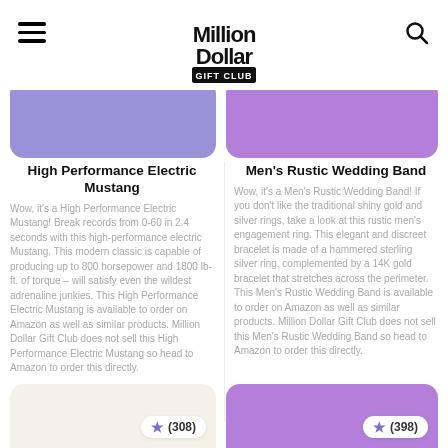Million Dollar Gift Club
[Figure (illustration): Purple product image card on the left]
[Figure (illustration): Lighter purple product image card on the right]
High Performance Electric Mustang
Wow, it's a High Performance Electric Mustang! Break records from 0-60 in 2.4 seconds with this high-performance electric Mustang. This modern classic is capable of producing up to 800 horsepower and 1800 lb-ft. of torque – will satisfy even the wildest adrenaline junkies. This High Performance Electric Mustang is available to order on Amazon as well as similar products. Million Dollar Gift Club does not sell this High Performance Electric Mustang so head to Amazon to order this directly.
Men's Rustic Wedding Band
Wow, it's a Men's Rustic Wedding Band! If you don't like the traditional shiny gold and silver rings, take a look at this rustic men's engagement ring. This elegant and discreet bracelet is made of a hammered sterling silver ring, complemented by a 14K gold bracelet that stretches across the perimeter. This Men's Rustic Wedding Band is available to order on Amazon as well as similar products. Million Dollar Gift Club does not sell this Men's Rustic Wedding Band so head to Amazon to order this directly.
[Figure (illustration): Bottom left product card with beige background showing rating (308)]
[Figure (illustration): Bottom right product card with purple background showing rating (398)]